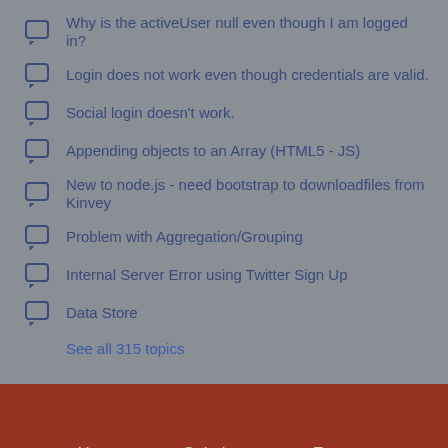Why is the activeUser null even though I am logged in?
Login does not work even though credentials are valid.
Social login doesn't work.
Appending objects to an Array (HTML5 - JS)
New to node.js - need bootstrap to downloadfiles from Kinvey
Problem with Aggregation/Grouping
Internal Server Error using Twitter Sign Up
Data Store
See all 315 topics
Home   Solutions   Forums